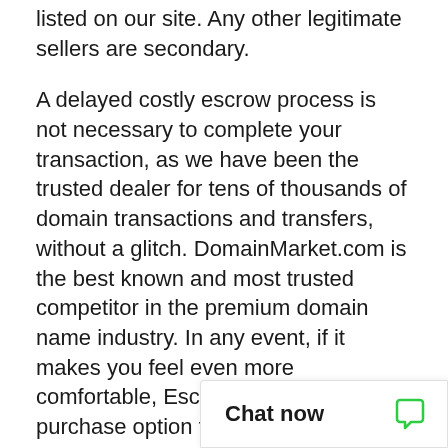listed on our site. Any other legitimate sellers are secondary.
A delayed costly escrow process is not necessary to complete your transaction, as we have been the trusted dealer for tens of thousands of domain transactions and transfers, without a glitch. DomainMarket.com is the best known and most trusted competitor in the premium domain name industry. In any event, if it makes you feel even more comfortable, Escrow.com is a purchase option for large transactions.
The asking price for ChabadOfIndia.com is based on a careful and professional appraisal by the world's leading experts on domain valuations, the inventors of ecommerce for premi... explicitly certified to b...